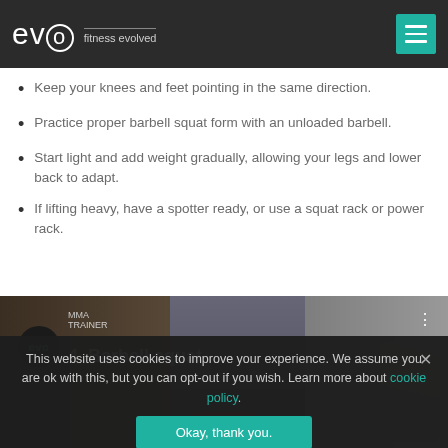evo fitness evolved
Keep your knees and feet pointing in the same direction.
Practice proper barbell squat form with an unloaded barbell.
Start light and add weight gradually, allowing your legs and lower back to adapt.
If lifting heavy, have a spotter ready, or use a squat rack or power rack.
[Figure (screenshot): YouTube-style video thumbnail showing '4. Barbell squat' with evo logo, play button, and gym background]
This website uses cookies to improve your experience. We assume you are ok with this, but you can opt-out if you wish. Learn more about cookie policy.